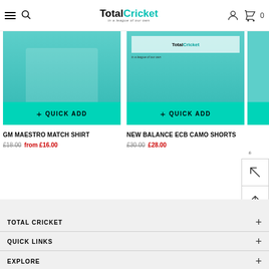TotalCricket — in a league of our own
[Figure (screenshot): Product image for GM Maestro Match Shirt with teal background]
+ QUICK ADD
GM MAESTRO MATCH SHIRT
£18.00 from £16.00
[Figure (screenshot): Product image for New Balance ECB Camo Shorts with TotalCricket logo]
+ QUICK ADD
NEW BALANCE ECB CAMO SHORTS
£30.00 £28.00
TOTAL CRICKET
QUICK LINKS
EXPLORE